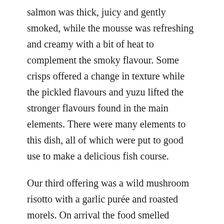salmon was thick, juicy and gently smoked, while the mousse was refreshing and creamy with a bit of heat to complement the smoky flavour. Some crisps offered a change in texture while the pickled flavours and yuzu lifted the stronger flavours found in the main elements. There were many elements to this dish, all of which were put to good use to make a delicious fish course.
Our third offering was a wild mushroom risotto with a garlic purée and roasted morels. On arrival the food smelled delightful and there was a little poached egg on top of the risotto as well as some parmesan shortbread pieces. I was afraid Nick wouldn't like this as he's not usually a fan of risotto or meat free dishes (God forbid you take his meat away) but he liked this with its rich, earthy, salty, garlicky flavours and creamy [Scroll to Top] e